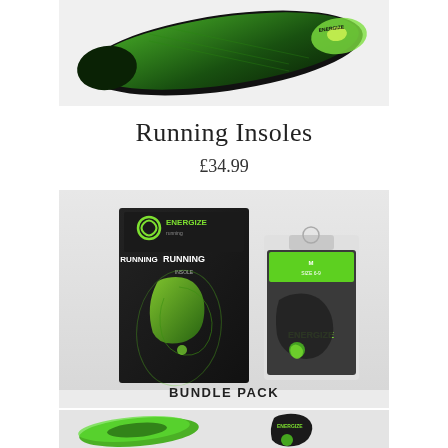[Figure (photo): Top-down view of a black and green running insole on a light grey background]
Running Insoles
£34.99
[Figure (photo): Bundle pack product shot showing a black/green insole box and a pair of black/green socks in packaging on a grey background, with 'BUNDLE PACK' text at the bottom]
[Figure (photo): Bottom strip showing two green/black insoles laid flat and a black/green ankle sock]